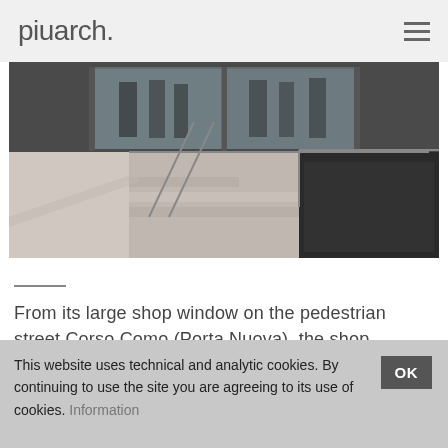piuarch.
[Figure (photo): Interior architectural photograph showing marble steps with metal railings leading up to a large glass storefront. People visible behind the glass. Dark and light contrast, stone/marble textures.]
From its large shop window on the pedestrian street Corso Como (Porta Nuova), the shop opens up into a 6.5 metres high space, stretching over 100
This website uses technical and analytic cookies. By continuing to use the site you are agreeing to its use of cookies. Information